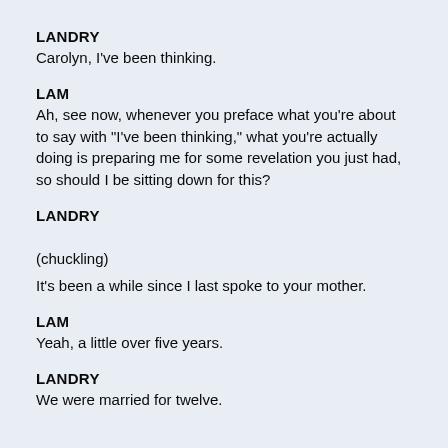LANDRY
Carolyn, I've been thinking.
LAM
Ah, see now, whenever you preface what you're about to say with "I've been thinking," what you're actually doing is preparing me for some revelation you just had, so should I be sitting down for this?
LANDRY
(chuckling)
It's been a while since I last spoke to your mother.
LAM
Yeah, a little over five years.
LANDRY
We were married for twelve.